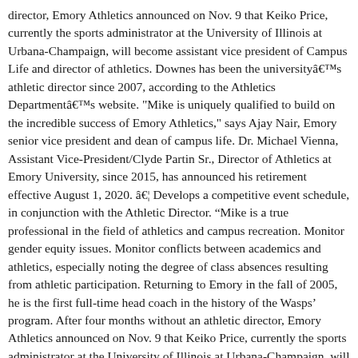director, Emory Athletics announced on Nov. 9 that Keiko Price, currently the sports administrator at the University of Illinois at Urbana-Champaign, will become assistant vice president of Campus Life and director of athletics. Downes has been the university's athletic director since 2007, according to the Athletics Department's website. "Mike is uniquely qualified to build on the incredible success of Emory Athletics," says Ajay Nair, Emory senior vice president and dean of campus life. Dr. Michael Vienna, Assistant Vice-President/Clyde Partin Sr., Director of Athletics at Emory University, since 2015, has announced his retirement effective August 1, 2020. â€¦ Develops a competitive event schedule, in conjunction with the Athletic Director. “Mike is a true professional in the field of athletics and campus recreation. Monitor gender equity issues. Monitor conflicts between academics and athletics, especially noting the degree of class absences resulting from athletic participation. Returning to Emory in the fall of 2005, he is the first full-time head coach in the history of the Wasps’ program. After four months without an athletic director, Emory Athletics announced on Nov. 9 that Keiko Price, currently the sports administrator at the University of Illinois at Urbana-Champaign, will become assistant vice president of Campus Life and director of athletics. Sims Moves from One Emory to